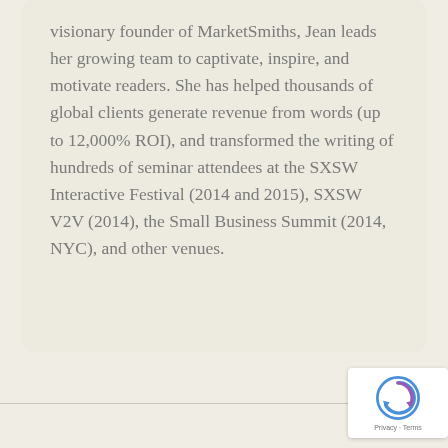visionary founder of MarketSmiths, Jean leads her growing team to captivate, inspire, and motivate readers. She has helped thousands of global clients generate revenue from words (up to 12,000% ROI), and transformed the writing of hundreds of seminar attendees at the SXSW Interactive Festival (2014 and 2015), SXSW V2V (2014), the Small Business Summit (2014, NYC), and other venues.
[Figure (logo): reCAPTCHA badge with Privacy and Terms text]